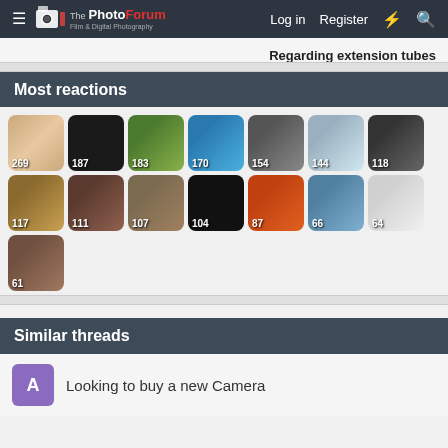The PhotoForum — Film & Digital Photography | Log in | Register
Regarding extension tubes
Most reactions
[Figure (infographic): Grid of 15 user profile photos with reaction counts: 269, 187, 183, 170, 154, 144, 118, 117, 111, 107, 104, 87, 66, 64, 61]
Similar threads
Looking to buy a new Camera